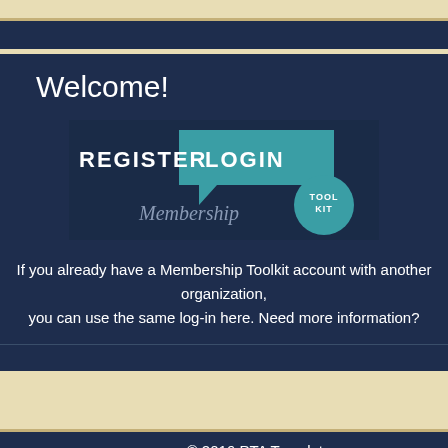Welcome!
[Figure (logo): Membership Toolkit REGISTER LOGIN logo with teal speech bubble and circle]
If you already have a Membership Toolkit account with another organization, you can use the same log-in here. Need more information?
© 2016 PTA Template
Our District
1985 Kemp Road